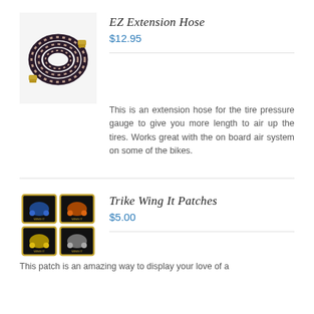[Figure (photo): Coiled braided extension hose with gold metal fittings on a light gray background]
EZ Extension Hose
$12.95
This is an extension hose for the tire pressure gauge to give you more length to air up the tires.  Works great with the on board air system on some of the bikes.
[Figure (photo): Four embroidered patches with motorcycle/trike designs on black background with gold border, arranged in a 2x2 grid]
Trike Wing It Patches
$5.00
This patch is an amazing way to display your love of a